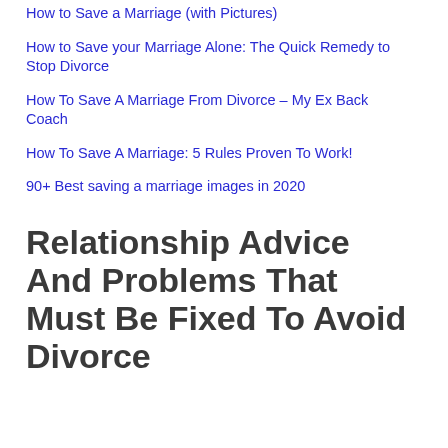How to Save a Marriage (with Pictures)
How to Save your Marriage Alone: The Quick Remedy to Stop Divorce
How To Save A Marriage From Divorce – My Ex Back Coach
How To Save A Marriage: 5 Rules Proven To Work!
90+ Best saving a marriage images in 2020
Relationship Advice And Problems That Must Be Fixed To Avoid Divorce